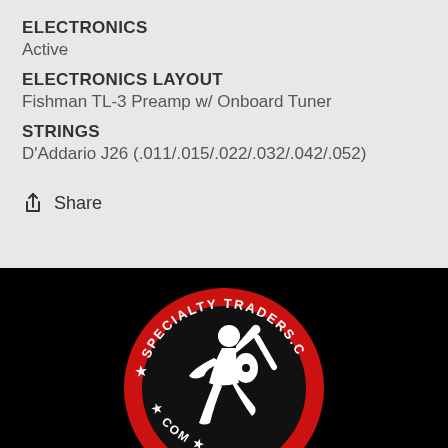ELECTRONICS
Active
ELECTRONICS LAYOUT
Fishman TL-3 Preamp w/ Onboard Tuner
STRINGS
D'Addario J26 (.011/.015/.022/.032/.042/.052)
Share
[Figure (logo): Specialty Traders logo: circular red and black badge with white silhouette of a guitarist, text reading SPECIALTY TRADERS around the border with stars]